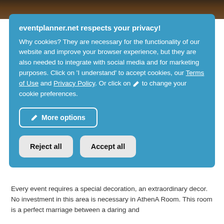[Figure (photo): Dark photo strip showing an event venue with ambient lighting at the top of the page]
eventplanner.net respects your privacy!
Why cookies? They are necessary for the functionality of our website and improve your browser experience, but they are also needed to integrate with social media and for marketing purposes. Click on 'I understand' to accept cookies, our Terms of Use and Privacy Policy. Or click on ✏ to change your cookie preferences.
✏ More options
Reject all
Accept all
Every event requires a special decoration, an extraordinary decor. No investment in this area is necessary in AthenA Room. This room is a perfect marriage between a daring and